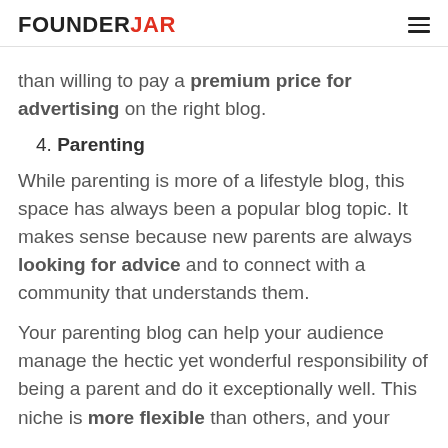FOUNDERJAR
than willing to pay a premium price for advertising on the right blog.
4. Parenting
While parenting is more of a lifestyle blog, this space has always been a popular blog topic. It makes sense because new parents are always looking for advice and to connect with a community that understands them.
Your parenting blog can help your audience manage the hectic yet wonderful responsibility of being a parent and do it exceptionally well. This niche is more flexible than others, and your